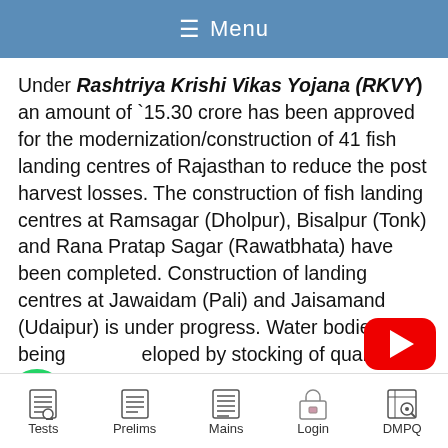≡ Menu
Under Rashtriya Krishi Vikas Yojana (RKVY) an amount of `15.30 crore has been approved for the modernization/construction of 41 fish landing centres of Rajasthan to reduce the post harvest losses. The construction of fish landing centres at Ramsagar (Dholpur), Bisalpur (Tonk) and Rana Pratap Sagar (Rawatbhata) have been completed. Construction of landing centres at Jawaidam (Pali) and Jaisamand (Udaipur) is under progress. Water bodies are being developed by stocking of quality fish seed and conservation of fish stock. Water...
[Figure (logo): YouTube play button icon (red rounded rectangle with white play triangle)]
[Figure (logo): WhatsApp icon (green circle with white phone handset)]
[Figure (logo): Chat bubble with ellipsis dots, teal/blue color]
Tests   Prelims   Mains   Login   DMPQ